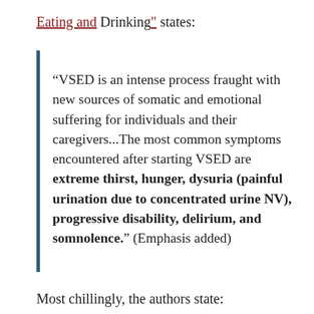Eating and Drinking" states:
“VSED is an intense process fraught with new sources of somatic and emotional suffering for individuals and their caregivers...The most common symptoms encountered after starting VSED are extreme thirst, hunger, dysuria (painful urination due to concentrated urine NV), progressive disability, delirium, and somnolence.” (Emphasis added)
Most chillingly, the authors state: